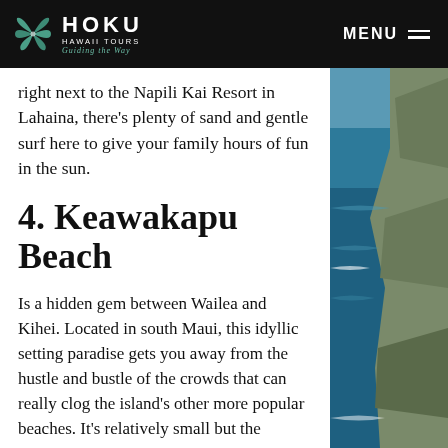HOKU HAWAII TOURS Guiding the Way | MENU
right next to the Napili Kai Resort in Lahaina, there's plenty of sand and gentle surf here to give your family hours of fun in the sun.
4. Keawakapu Beach
Is a hidden gem between Wailea and Kihei. Located in south Maui, this idyllic setting paradise gets you away from the hustle and bustle of the crowds that can really clog the island's other more popular beaches. It's relatively small but the swimming conditions more than make up for it. No matter what time of year you visit, the surf is always calm, and the white sand is perfect for sunbathing or constructing a sand castle. Don't forget to